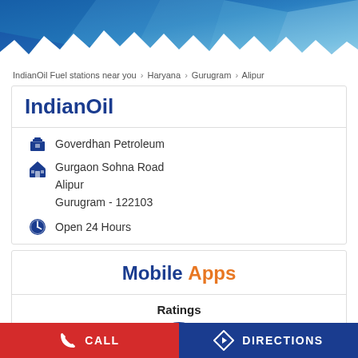[Figure (illustration): Blue geometric polygon header banner with light blue and darker blue facets, white zigzag wave at the bottom]
IndianOil Fuel stations near you > Haryana > Gurugram > Alipur
IndianOil
Goverdhan Petroleum
Gurgaon Sohna Road
Alipur
Gurugram - 122103
Open 24 Hours
Mobile Apps
Ratings
[Figure (logo): IndianOil orange and blue circular logo, partially visible]
CALL   DIRECTIONS